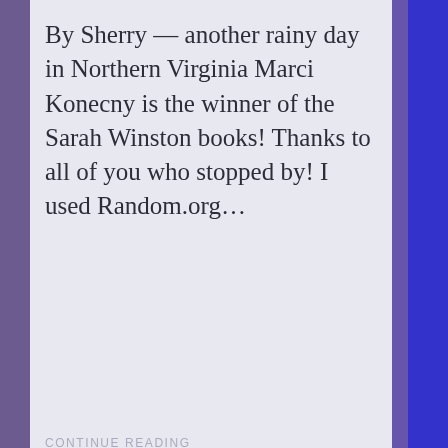By Sherry — another rainy day in Northern Virginia Marci Konecny is the winner of the Sarah Winston books! Thanks to all of you who stopped by! I used Random.org…
CONTINUE READING
NOVEMBER 17, 2016
Crime Bake On A Stick 2016